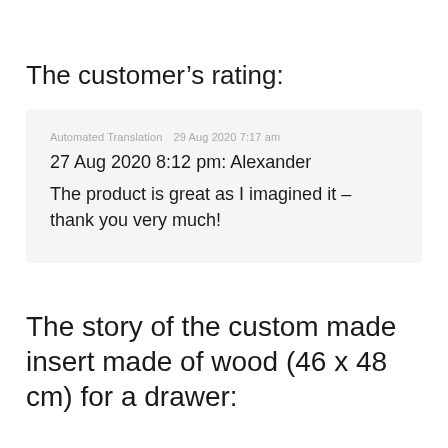The customer's rating:
Automated Translation   29 Aug 2020 7:17 am
27 Aug 2020 8:12 pm: Alexander
The product is great as I imagined it – thank you very much!
The story of the custom made insert made of wood (46 x 48 cm) for a drawer: